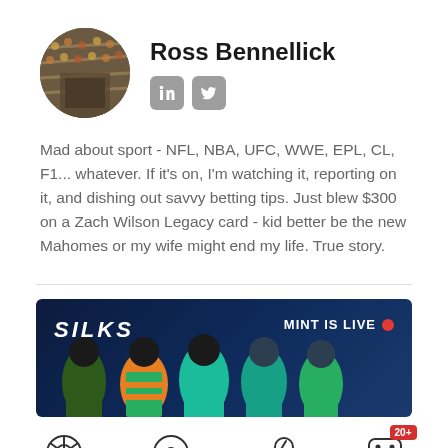[Figure (photo): Circular avatar photo of Ross Bennellick showing a stadium/crowd background]
Ross Bennellick
[Figure (illustration): LinkedIn and Twitter/X social media icons in gray rounded square buttons]
Mad about sport - NFL, NBA, UFC, WWE, EPL, CL, F1... whatever. If it's on, I'm watching it, reporting on it, and dishing out savvy betting tips. Just blew $300 on a Zach Wilson Legacy card - kid better be the new Mahomes or my wife might end my life. True story.
[Figure (photo): SILKS advertisement banner showing 'MINT IS LIVE' with a red live dot, and stylized gaming characters/avatars on a dark blue background]
NBA Live Betting
Promo Codes
Betting Apps
New Casinos